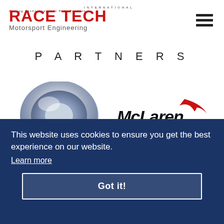[Figure (logo): Race Tech International Motorsport Engineering logo with red bold text and grey subtitle]
[Figure (logo): Hamburger menu icon - three horizontal black bars]
PARTNERS
[Figure (logo): Aurora Bearing Company logo - chrome ring with blue AURORA text]
[Figure (logo): McLaren Applied Technologies logo - black italic text with red swoosh]
This website uses cookies to ensure you get the best experience on our website.
Learn more
Got it!